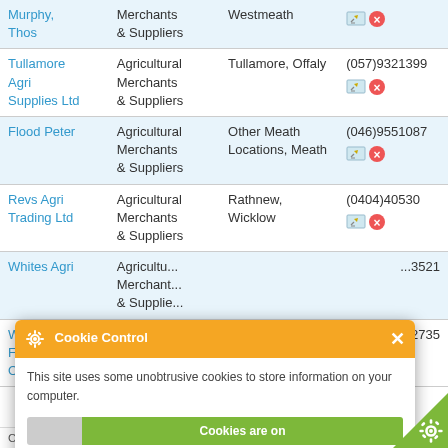| Name | Type | Location | Phone |
| --- | --- | --- | --- |
| Murphy, Thos | Merchants & Suppliers | Westmeath |  |
| Tullamore Agri Supplies Ltd | Agricultural Merchants & Suppliers | Tullamore, Offaly | (057)9321399 |
| Flood Peter | Agricultural Merchants & Suppliers | Other Meath Locations, Meath | (046)9551087 |
| Revs Agri Trading Ltd | Agricultural Merchants & Suppliers | Rathnew, Wicklow | (0404)40530 |
| Whites Agri | Agricultural Merchants & Suppliers |  | ...3521 |
| Wexford Farmers Co-Op | Agricultural Merchants & Suppliers |  | ...2735 |
[Figure (screenshot): Cookie Control popup overlay showing orange header with gear icon, message about unobtrusive cookies, toggle showing 'Cookies are on', link to 'about this tool', and green 'read more' button]
Copyright © 2003-2022 localbusinesspages. All rights reserved.